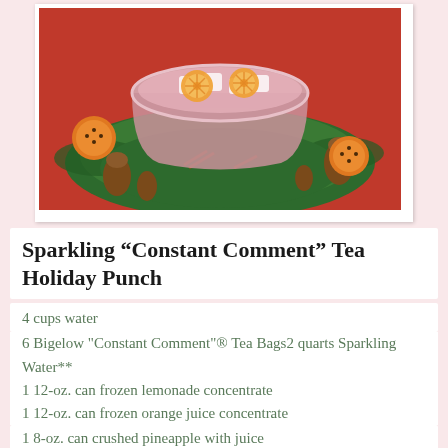[Figure (photo): A punch bowl filled with pink sparkling punch garnished with orange slices, surrounded by a holiday wreath with pine cones, pine branches, and decorated oranges on a red background]
Sparkling “Constant Comment” Tea Holiday Punch
4 cups water
6 Bigelow "Constant Comment"® Tea Bags2 quarts Sparkling Water**
1 12-oz. can frozen lemonade concentrate
1 12-oz. can frozen orange juice concentrate
1 8-oz. can crushed pineapple with juice
Garnish with Orange Slices